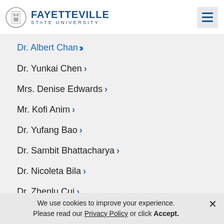Fayetteville State University
Dr. Albert Chan
Dr. Yunkai Chen
Mrs. Denise Edwards
Mr. Kofi Anim
Dr. Yufang Bao
Dr. Sambit Bhattacharya
Dr. Nicoleta Bila
Dr. Zhenlu Cui
We use cookies to improve your experience. Please read our Privacy Policy or click Accept.